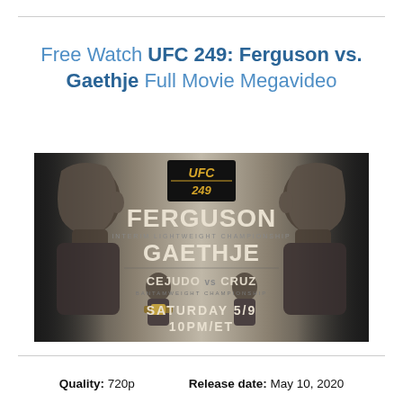Free Watch UFC 249: Ferguson vs. Gaethje Full Movie Megavideo
[Figure (photo): UFC 249 event promotional poster showing Ferguson vs Gaethje interim lightweight championship, Cejudo vs Cruz bantamweight championship, Saturday 5/9 10PM/ET]
Quality: 720p    Release date: May 10, 2020